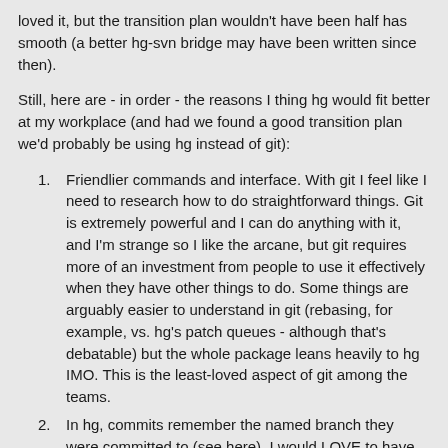loved it, but the transition plan wouldn't have been half has smooth (a better hg-svn bridge may have been written since then).
Still, here are - in order - the reasons I thing hg would fit better at my workplace (and had we found a good transition plan we'd probably be using hg instead of git):
Friendlier commands and interface. With git I feel like I need to research how to do straightforward things. Git is extremely powerful and I can do anything with it, and I'm strange so I like the arcane, but git requires more of an investment from people to use it effectively when they have other things to do. Some things are arguably easier to understand in git (rebasing, for example, vs. hg's patch queues - although that's debatable) but the whole package leans heavily to hg IMO. This is the least-loved aspect of git among the teams.
In hg, commits remember the named branch they were committed to (see here). I would LOVE to have this in git, but no cigar - we're still playing with different schemes of approximating this.